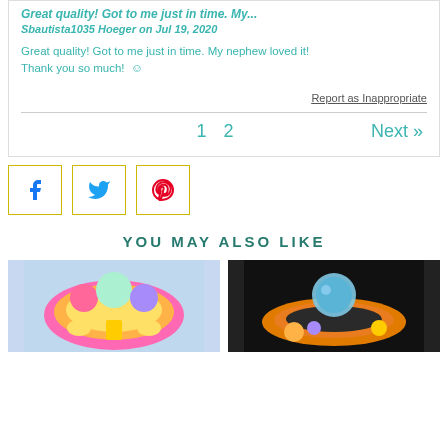Great quality! Got to me just in time. My...
Sbautista1035 Hoeger on Jul 19, 2020
Great quality! Got to me just in time. My nephew loved it! Thank you so much! ☺
Report as Inappropriate
1 2   Next »
[Figure (other): Social sharing buttons: Facebook, Twitter, Pinterest]
YOU MAY ALSO LIKE
[Figure (photo): Colorful rainbow enamel pin with butterfly and flowers]
[Figure (photo): Space-themed rainbow enamel pin with planet character]